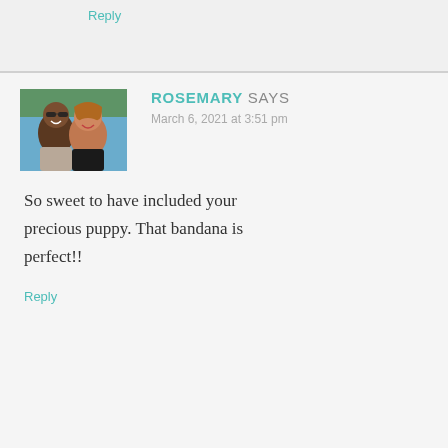Reply
[Figure (photo): Profile photo of two women smiling outdoors, one wearing sunglasses]
ROSEMARY SAYS
March 6, 2021 at 3:51 pm
So sweet to have included your precious puppy. That bandana is perfect!!
Reply